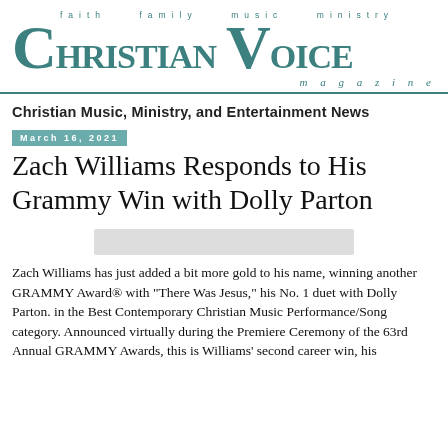faith  family  music  ministry  CHRISTIAN VOICE magazine
Christian Music, Ministry, and Entertainment News
March 16, 2021
Zach Williams Responds to His Grammy Win with Dolly Parton
[Figure (other): Gray placeholder image bar]
Zach Williams has just added a bit more gold to his name, winning another GRAMMY Award® with "There Was Jesus," his No. 1 duet with Dolly Parton. in the Best Contemporary Christian Music Performance/Song category. Announced virtually during the Premiere Ceremony of the 63rd Annual GRAMMY Awards, this is Williams' second career win, his